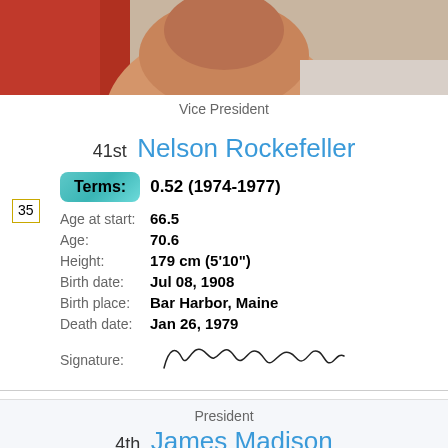[Figure (photo): Close-up photo of Nelson Rockefeller, showing face and part of shirt/tie, with reddish background]
35
Vice President
41st  Nelson Rockefeller
Terms: 0.52 (1974-1977)
Age at start: 66.5
Age: 70.6
Height: 179 cm (5'10")
Birth date: Jul 08, 1908
Birth place: Bar Harbor, Maine
Death date: Jan 26, 1979
[Figure (illustration): Handwritten signature of Nelson Rockefeller]
President
4th  James Madison
Terms: 2 (1809-1817)
Age at start: 57.97
Age: 85.3